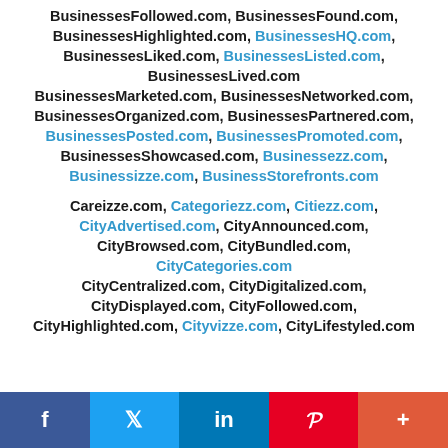BusinessesFollowed.com, BusinessesFound.com, BusinessesHighlighted.com, BusinessesHQ.com, BusinessesLiked.com, BusinessesListed.com, BusinessesLived.com BusinessesMarketed.com, BusinessesNetworked.com, BusinessesOrganized.com, BusinessesPartnered.com, BusinessesPosted.com, BusinessesPromoted.com, BusinessesShowcased.com, Businessezz.com, Businessizze.com, BusinessStorefronts.com
Careizze.com, Categoriezz.com, Citiezz.com, CityAdvertised.com, CityAnnounced.com, CityBrowsed.com, CityBundled.com, CityCategories.com CityCentralized.com, CityDigitalized.com, CityDisplayed.com, CityFollowed.com, CityHighlighted.com, Cityvizze.com, CityLifestyled.com
f  t  in  P  +